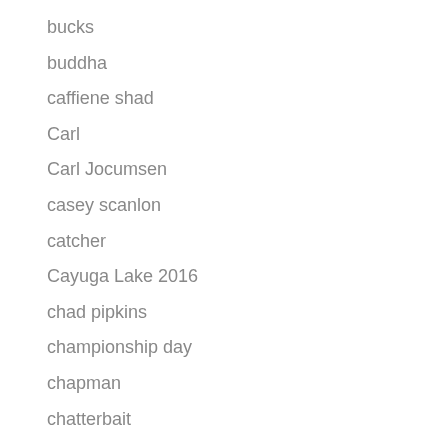bucks
buddha
caffiene shad
Carl
Carl Jocumsen
casey scanlon
catcher
Cayuga Lake 2016
chad pipkins
championship day
chapman
chatterbait